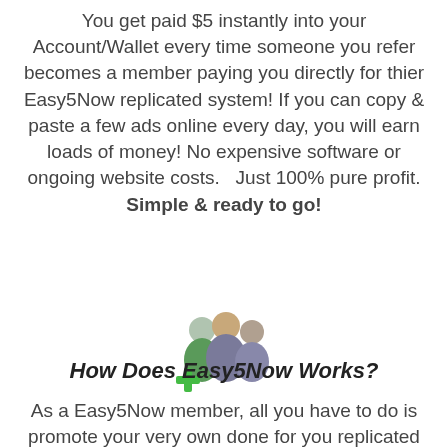You get paid $5 instantly into your Account/Wallet every time someone you refer becomes a member paying you directly for thier Easy5Now replicated system! If you can copy & paste a few ads online every day, you will earn loads of money! No expensive software or ongoing website costs.   Just 100% pure profit. Simple & ready to go!
[Figure (illustration): Group of three people icons with a green plus symbol, representing referral/membership]
How Does Easy5Now Works?
As a Easy5Now member, all you have to do is promote your very own done for you replicated Easy5Now website just like this